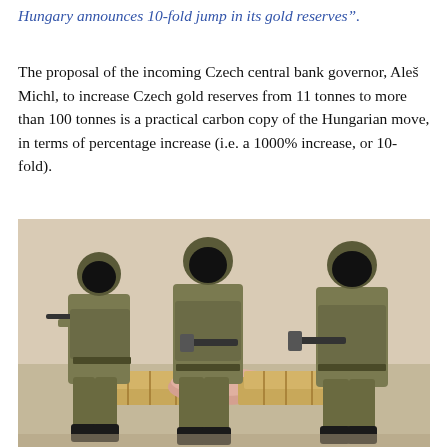Hungary announces 10-fold jump in its gold reserves".
The proposal of the incoming Czech central bank governor, Aleš Michl, to increase Czech gold reserves from 11 tonnes to more than 100 tonnes is a practical carbon copy of the Hungarian move, in terms of percentage increase (i.e. a 1000% increase, or 10-fold).
[Figure (photo): Three armed soldiers in full tactical gear (helmets, masks, camouflage uniforms, rifles) standing in a light-colored room in front of wooden crates/pallets with wrapped goods, presumably gold.]